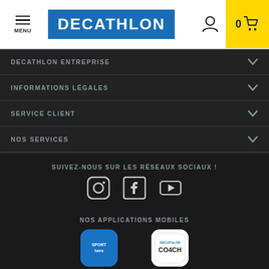[Figure (screenshot): Decathlon website header with menu icon, Decathlon logo in blue, user account icon, and yellow cart area showing 0 items]
DECATHLON ENTREPRISE
INFORMATIONS LÉGALES
SERVICE CLIENT
NOS SERVICES
SUIVEZ-NOUS SUR LES RÉSEAUX SOCIAUX !
[Figure (illustration): Social media icons: Instagram, Facebook, YouTube]
NOS APPLICATIONS MOBILES
[Figure (illustration): Two app icons: Sport Hero app and Decathlon Coach app]